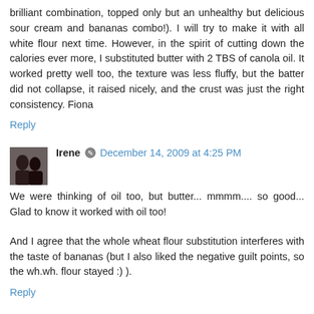brilliant combination, topped only but an unhealthy but delicious sour cream and bananas combo!). I will try to make it with all white flour next time. However, in the spirit of cutting down the calories ever more, I substituted butter with 2 TBS of canola oil. It worked pretty well too, the texture was less fluffy, but the batter did not collapse, it raised nicely, and the crust was just the right consistency. Fiona
Reply
Irene  December 14, 2009 at 4:25 PM
We were thinking of oil too, but butter... mmmm.... so good... Glad to know it worked with oil too!
And I agree that the whole wheat flour substitution interferes with the taste of bananas (but I also liked the negative guilt points, so the wh.wh. flour stayed :) ).
Reply